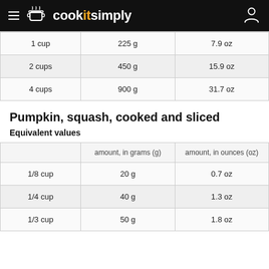cookitsimply
|  | amount, in grams (g) | amount, in ounces (oz) |
| --- | --- | --- |
| 1 cup | 225 g | 7.9 oz |
| 2 cups | 450 g | 15.9 oz |
| 4 cups | 900 g | 31.7 oz |
Pumpkin, squash, cooked and sliced
Equivalent values
|  | amount, in grams (g) | amount, in ounces (oz) |
| --- | --- | --- |
| 1/8 cup | 20 g | 0.7 oz |
| 1/4 cup | 40 g | 1.3 oz |
| 1/3 cup | 50 g | 1.8 oz |